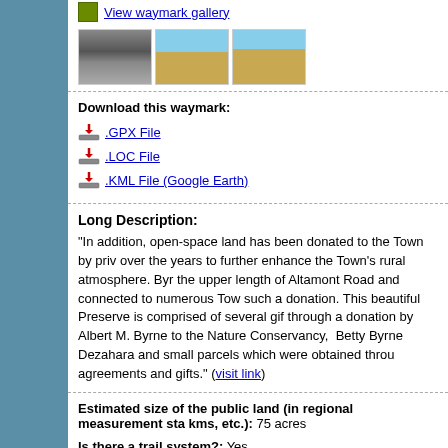[Figure (photo): Three thumbnail photos of a waymark location showing a sign, open land, and a fence post.]
.GPX File
.LOC File
.KML File (Google Earth)
Long Description:
"In addition, open-space land has been donated to the Town by priv... over the years to further enhance the Town's rural atmosphere. Byr... the upper length of Altamont Road and connected to numerous Tow... such a donation. This beautiful Preserve is comprised of several gif... through a donation by Albert M. Byrne to the Nature Conservancy, ... Betty Byrne Dezahara and small parcels which were obtained throu... agreements and gifts." (visit link)
Estimated size of the public land (in regional measurement sta... kms, etc.): 75 acres
Is there a trail system?: Yes